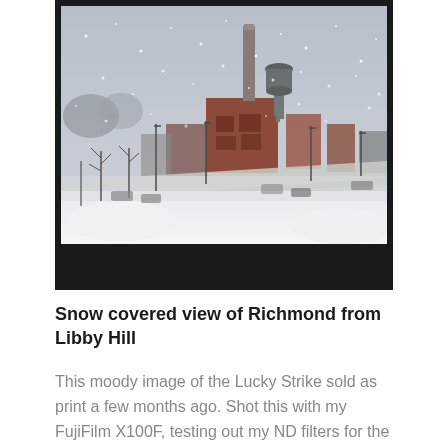[Figure (photo): A snow-covered aerial view of Richmond, Virginia from Libby Hill. The scene shows the Lucky Strike factory with a tall smokestack, a water tower, red brick buildings, snow-covered streets and parking lots with cars, bare trees, and streetlights under a grey, snowy sky.]
Snow covered view of Richmond from Libby Hill
This moody image of the Lucky Strike sold as print a few months ago. Shot this with my FujiFilm X100F, testing out my ND filters for the first time.